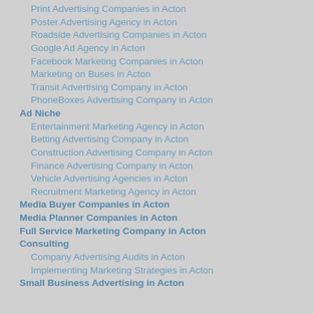Print Advertising Companies in Acton
Poster Advertising Agency in Acton
Roadside Advertising Companies in Acton
Google Ad Agency in Acton
Facebook Marketing Companies in Acton
Marketing on Buses in Acton
Transit Advertising Company in Acton
PhoneBoxes Advertising Company in Acton
Ad Niche
Entertainment Marketing Agency in Acton
Betting Advertising Company in Acton
Construction Advertising Company in Acton
Finance Advertising Company in Acton
Vehicle Advertising Agencies in Acton
Recruitment Marketing Agency in Acton
Media Buyer Companies in Acton
Media Planner Companies in Acton
Full Service Marketing Company in Acton
Consulting
Company Advertising Audits in Acton
Implementing Marketing Strategies in Acton
Small Business Advertising in Acton